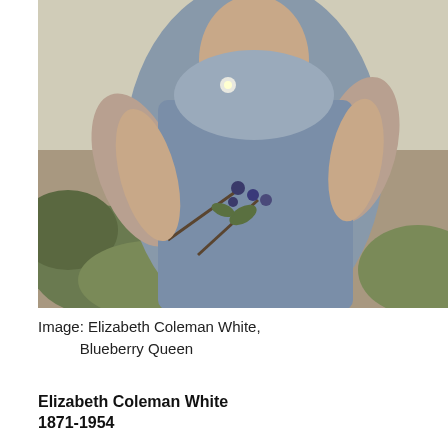[Figure (photo): Black and white photo of Elizabeth Coleman White holding blueberry branches, upper body visible, wearing light-colored short-sleeve shirt]
Image: Elizabeth Coleman White,
           Blueberry Queen
Elizabeth Coleman White
1871-1954
Along with Frederick Coville, chief botanist of US Department of Agriculture and first director of National Arboretum, developed nation's first cultivated blueberry, foundation of commercial blueberry industry. Daughter of head of family cranberry business, J.J. White, Inc. on 600-acre cranberry farm in Whitesbog in Pine Barrens. After reading article by Colville on blueberry propagation, in 1911 invited him to come to farm to continue research, helped locate wild blueberry